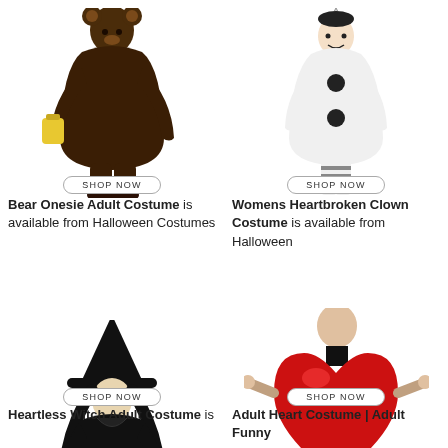[Figure (photo): Bear Onesie Adult Costume - person in brown bear onesie with yellow bag]
[Figure (photo): Womens Heartbroken Clown Costume - woman in white clown suit with black dots]
Bear Onesie Adult Costume is available from Halloween Costumes
Womens Heartbroken Clown Costume is available from Halloween
[Figure (photo): Heartless Witch Adult Costume - woman in black witch dress and hat]
[Figure (photo): Adult Heart Costume | Adult Funny - man wearing large red heart costume]
Heartless Witch Adult Costume is
Adult Heart Costume | Adult Funny